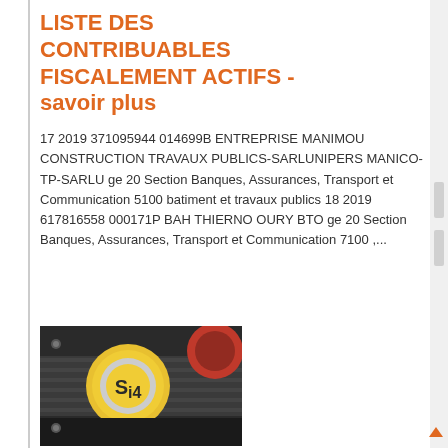LISTE DES CONTRIBUABLES FISCALEMENT ACTIFS - savoir plus
17 2019 371095944 014699B ENTREPRISE MANIMOU CONSTRUCTION TRAVAUX PUBLICS-SARLUNIPERS MANICO-TP-SARLU ge 20 Section Banques, Assurances, Transport et Communication 5100 batiment et travaux publics 18 2019 617816558 000171P BAH THIERNO OURY BTO ge 20 Section Banques, Assurances, Transport et Communication 7100 ,...
[Figure (photo): Close-up photo of an industrial electric motor or generator component with a yellow circular label/badge marked 'S4' in the center, with red and gray mechanical housing visible.]